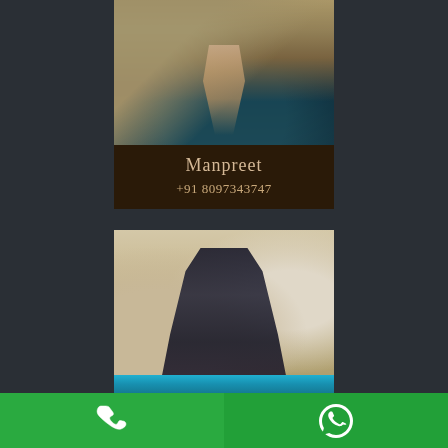[Figure (photo): Photo of legs in water/pool with reflection, top portion of profile card]
Manpreet
+91 8097343747
[Figure (photo): Woman with long dark hair wearing dark dress, sitting in front of arched architectural background near a pool/billiards table]
[Figure (infographic): Green footer bar with phone call icon on left half and WhatsApp icon on right half]